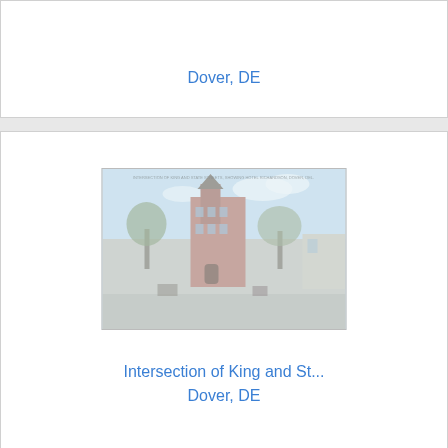Dover, DE
[Figure (photo): Vintage colorized postcard showing the Intersection of King and State Streets, Dover, DE. A tall Victorian-style red brick building with a clock tower is visible at center, with trees lining the street and horse-drawn carriages visible.]
Intersection of King and St...
Dover, DE
[Figure (photo): Partial view of another photo, appears to be a landscape with blue sky.]